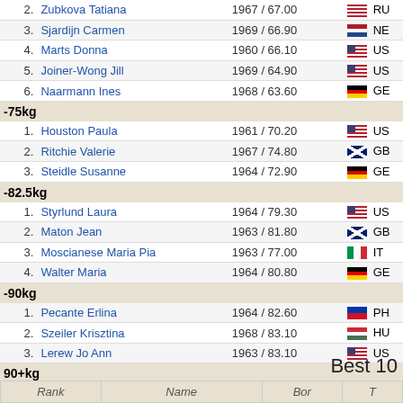| Rank | Name | Born / Bodyweight | Country |
| --- | --- | --- | --- |
| 2. | Zubkova Tatiana | 1967 / 67.00 | RUS |
| 3. | Sjardijn Carmen | 1969 / 66.90 | NED |
| 4. | Marts Donna | 1960 / 66.10 | USA |
| 5. | Joiner-Wong Jill | 1969 / 64.90 | USA |
| 6. | Naarmann Ines | 1968 / 63.60 | GER |
| -75kg |  |  |  |
| 1. | Houston Paula | 1961 / 70.20 | USA |
| 2. | Ritchie Valerie | 1967 / 74.80 | GBR |
| 3. | Steidle Susanne | 1964 / 72.90 | GER |
| -82.5kg |  |  |  |
| 1. | Styrlund Laura | 1964 / 79.30 | USA |
| 2. | Maton Jean | 1963 / 81.80 | GBR |
| 3. | Moscianese Maria Pia | 1963 / 77.00 | ITA |
| 4. | Walter Maria | 1964 / 80.80 | GER |
| -90kg |  |  |  |
| 1. | Pecante Erlina | 1964 / 82.60 | PHI |
| 2. | Szeiler Krisztina | 1968 / 83.10 | HUN |
| 3. | Lerew Jo Ann | 1963 / 83.10 | USA |
| 90+kg |  |  |  |
| 1. | Baum Malinda | 1963 / 90.60 | USA |
Best 10
| Rank | Name | Born | Total |
| --- | --- | --- | --- |